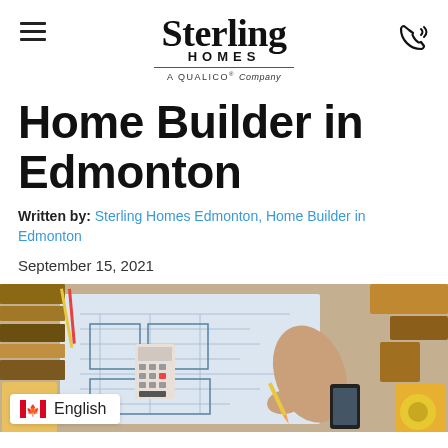Sterling Homes — A QUALICO Company
Home Builder in Edmonton
Written by: Sterling Homes Edmonton, Home Builder in Edmonton
September 15, 2021
[Figure (photo): Overhead view of a person reviewing architectural blueprints/floor plans on a desk, surrounded by wood samples, a calculator, pencils, and a smartphone. A language selector badge shows English with a Canadian flag.]